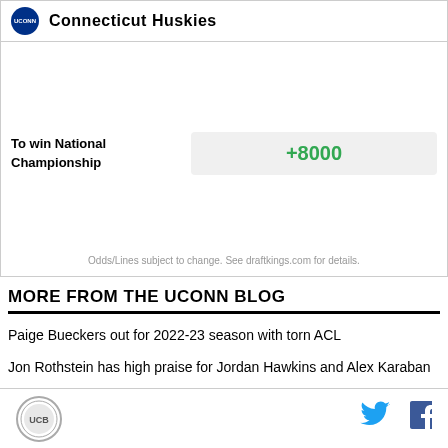Connecticut Huskies
| To win National Championship | Odds |
| --- | --- |
| To win National Championship | +8000 |
Odds/Lines subject to change. See draftkings.com for details.
MORE FROM THE UCONN BLOG
Paige Bueckers out for 2022-23 season with torn ACL
Jon Rothstein has high praise for Jordan Hawkins and Alex Karaban
UConn Blog footer with social icons